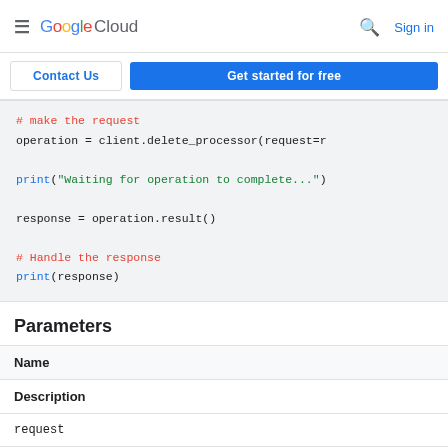Google Cloud — Sign in
Contact Us | Get started for free
# make the request
operation = client.delete_processor(request=r

print("Waiting for operation to complete...")

response = operation.result()

# Handle the response
print(response)
Parameters
| Name | Description |
| --- | --- |
| request |  |